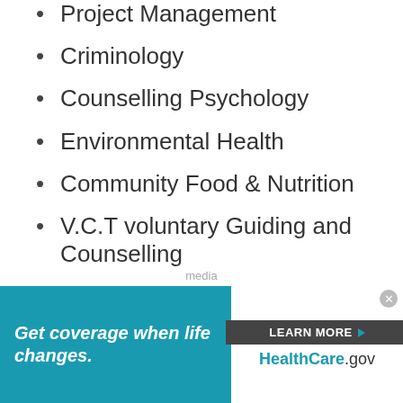Project Management
Criminology
Counselling Psychology
Environmental Health
Community Food & Nutrition
V.C.T voluntary Guiding and Counselling
Nursing Aid
Engineering & Technical Department
Electronics/ Electrical Engineering